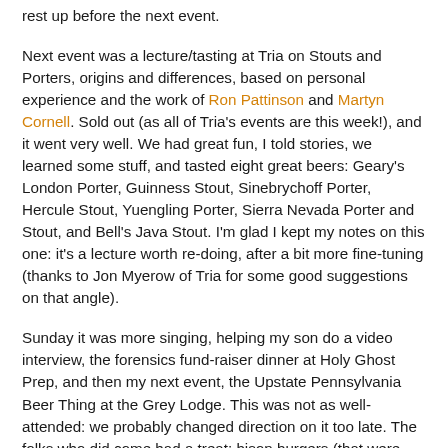rest up before the next event.
Next event was a lecture/tasting at Tria on Stouts and Porters, origins and differences, based on personal experience and the work of Ron Pattinson and Martyn Cornell. Sold out (as all of Tria's events are this week!), and it went very well. We had great fun, I told stories, we learned some stuff, and tasted eight great beers: Geary's London Porter, Guinness Stout, Sinebrychoff Porter, Hercule Stout, Yuengling Porter, Sierra Nevada Porter and Stout, and Bell's Java Stout. I'm glad I kept my notes on this one: it's a lecture worth re-doing, after a bit more fine-tuning (thanks to Jon Myerow of Tria for some good suggestions on that angle).
Sunday it was more singing, helping my son do a video interview, the forensics fund-raiser dinner at Holy Ghost Prep, and then my next event, the Upstate Pennsylvania Beer Thing at the Grey Lodge. This was not as well-attended: we probably changed direction on it too late. The folks who did come had a treat: bison burgers (that were fantastic, Scoats was urged to make them a regular on the menu), apple fritters (the first official dessert offering at the Grey Lodge), for an excellent steak-house and a review of...